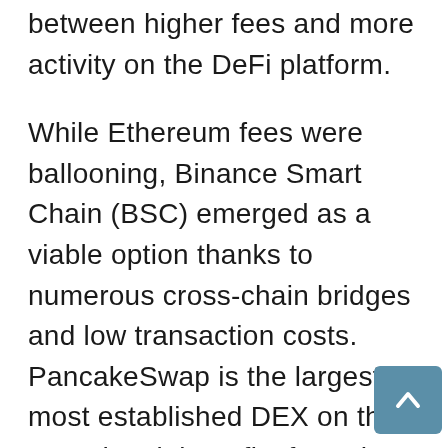between higher fees and more activity on the DeFi platform.
While Ethereum fees were ballooning, Binance Smart Chain (BSC) emerged as a viable option thanks to numerous cross-chain bridges and low transaction costs. PancakeSwap is the largest, most established DEX on the BSC thus it benefits from the influx of users and Binance's large user base.
Delphi Digital analysts identified Binance's immense ecosystem as another major factor providing a boost for CAKE as its “vast network effect” comes from being the “biggest crypto exchange that’s typically the first choice for retail traders.”